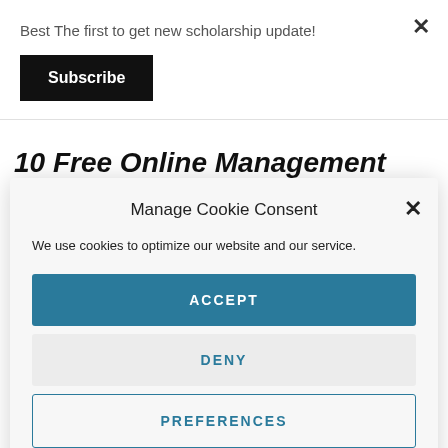Best The first to get new scholarship update!
Subscribe
10 Free Online Management Courses
Manage Cookie Consent
We use cookies to optimize our website and our service.
ACCEPT
DENY
PREFERENCES
Privacy Policy